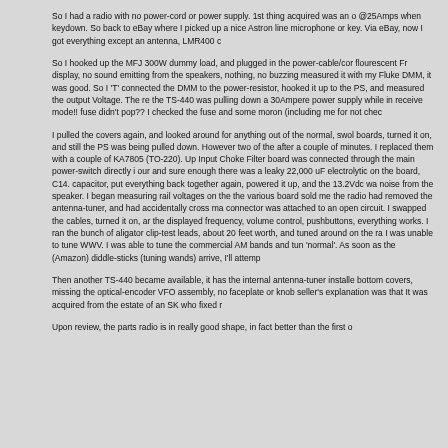So I had a radio with no power-cord or power supply. 1st thing acquired was an o @25Amps when keydown. So back to eBay where I picked up a nice Astron line microphone or key. Via eBay, now I got everything except an antenna, LMR400 c
So I hooked up the MFJ 300W dummy load, and plugged in the power-cable/cor flourescent Fr display, no sound emitting from the speakers, nothing, no buzzing measured it with my Fluke DMM, it was good. So I 'T' connected the DMM to the power-resistor, hooked it up to the PS, and measured the output Voltage. The re the TS-440 was pulling down a 30Ampere power supply while in receive mode!! fuse didn't pop?? I checked the fuse and some moron (including me for not chec
I pulled the covers again, and looked around for anything out of the normal, swol boards, turned it on, and still the PS was being pulled down. However two of the after a couple of minutes. I replaced them with a couple of KA7805 (TO-220). Up Input Choke Filter board was connected through the main power-switch directly i our and sure enough there was a leaky 22,000 uF electrolytic on the board, C14. capacitor, put everything back together again, powered it up, and the 13.2Vdc wa noise from the speaker. I began measuring rail voltages on the the various board sold me the radio had removed the antenna-tuner, and had accidentally cross ma connector was attached to an open circuit. I swapped the cables, turned it on, ar the displayed frequency, volume control, pushbuttons, everything works. I ran the bunch of aligator clip-test leads, about 20 feet worth, and tuned around on the ra I was unable to tune WWV. I was able to tune the commercial AM bands and tun 'normal'. As soon as the (Amazon) diddle-sticks (tuning wands) arrive, I'll attemp
Then another TS-440 became available, it has the internal antenna-tuner installe bottom covers, missing the optical-encoder VFO assembly, no faceplate or knob seller's explanation was that It was acquired from the estate of an SK who fixed r
Upon review, the parts radio is in really good shape, in fact better than the first o